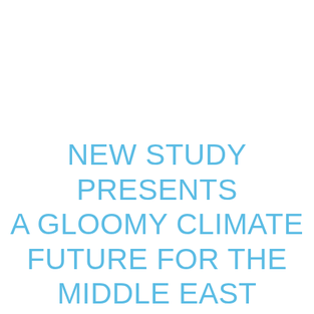NEW STUDY PRESENTS A GLOOMY CLIMATE FUTURE FOR THE MIDDLE EAST